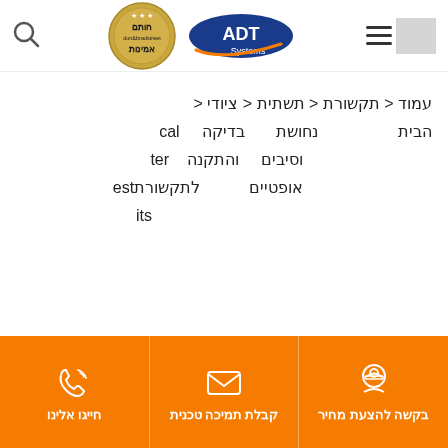[Figure (logo): ADT Systems logo with orange swoosh and blue ellipse, plus Dun & Bradstreet gold seal badge]
עמוד < תקשורת < תשתית < ציודי < הבית נחושת וסיבים אופטיים בדיקה והתקנה לתקשורת cal ter estits
[Figure (infographic): Orange footer bar with three sections: phone icon - חייגו אלינו, envelope icon - קבלת תמיכה טכנית, technician icon - בקשה להצעת מחיר]